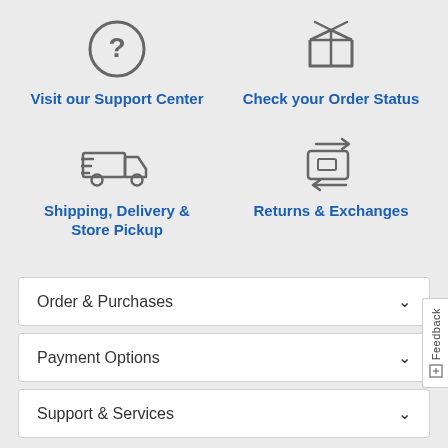[Figure (illustration): Question mark in circle icon (support center)]
Visit our Support Center
[Figure (illustration): Box/package icon (order status)]
Check your Order Status
[Figure (illustration): Delivery truck with speed lines icon]
Shipping, Delivery & Store Pickup
[Figure (illustration): Box with bidirectional arrows icon (returns & exchanges)]
Returns & Exchanges
Order & Purchases
Payment Options
Support & Services